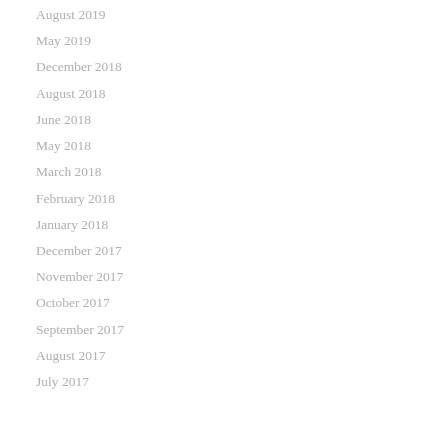August 2019
May 2019
December 2018
August 2018
June 2018
May 2018
March 2018
February 2018
January 2018
December 2017
November 2017
October 2017
September 2017
August 2017
July 2017